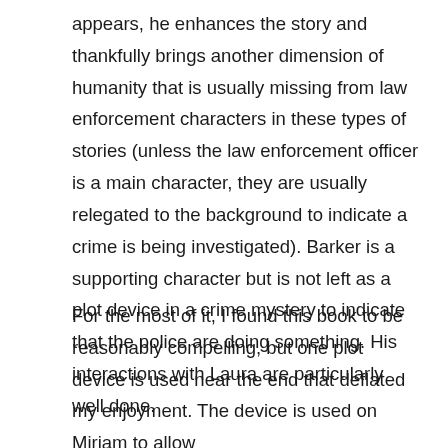appears, he enhances the story and thankfully brings another dimension of humanity that is usually missing from law enforcement characters in these types of stories (unless the law enforcement officer is a main character, they are usually relegated to the background to indicate a crime is being investigated). Barker is a supporting character but is not left as a plot device in a crime mystery to indicate that the police are doing something. His interactions with Laura are particularly well done.
For the most of it, I found this book to be reasonably compelling, but one plot device is used near the end that deflated my enjoyment. The device is used on Miriam to allow